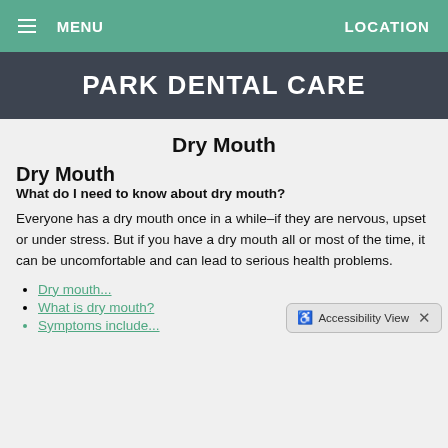MENU   LOCATION
PARK DENTAL CARE
Dry Mouth
Dry Mouth
What do I need to know about dry mouth?
Everyone has a dry mouth once in a while–if they are nervous, upset or under stress. But if you have a dry mouth all or most of the time, it can be uncomfortable and can lead to serious health problems.
Dry mouth...
What is dry mouth?
Symptoms include...